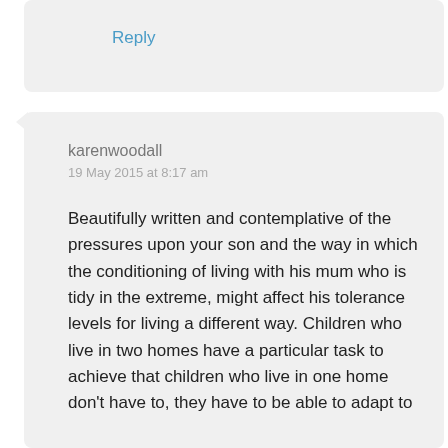Reply
karenwoodall
19 May 2015 at 8:17 am
Beautifully written and contemplative of the pressures upon your son and the way in which the conditioning of living with his mum who is tidy in the extreme, might affect his tolerance levels for living a different way. Children who live in two homes have a particular task to achieve that children who live in one home don't have to, they have to be able to adapt to